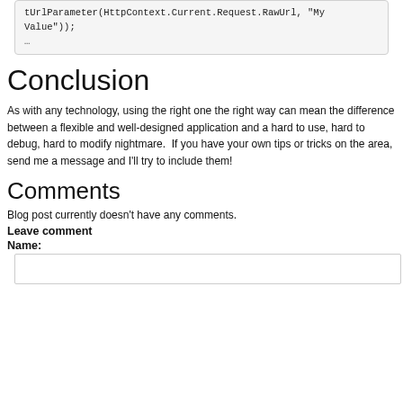tUrlParameter(HttpContext.Current.Request.RawUrl, "MyValue"));
…
Conclusion
As with any technology, using the right one the right way can mean the difference between a flexible and well-designed application and a hard to use, hard to debug, hard to modify nightmare.  If you have your own tips or tricks on the area, send me a message and I'll try to include them!
Comments
Blog post currently doesn't have any comments.
Leave comment
Name: